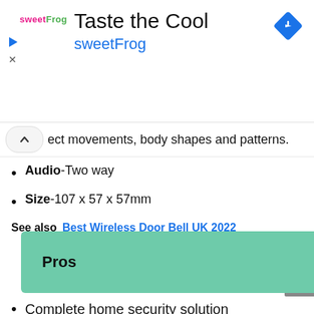[Figure (screenshot): sweetFrog advertisement banner with logo, 'Taste the Cool' heading, 'sweetFrog' subtitle in blue, and a blue navigation/direction icon on the right. Small play and close icons on the far left.]
ect movements, body shapes and patterns.
Audio-Two way
Size-107 x 57 x 57mm
See also  Best Wireless Door Bell UK 2022
Pros
Complete home security solution